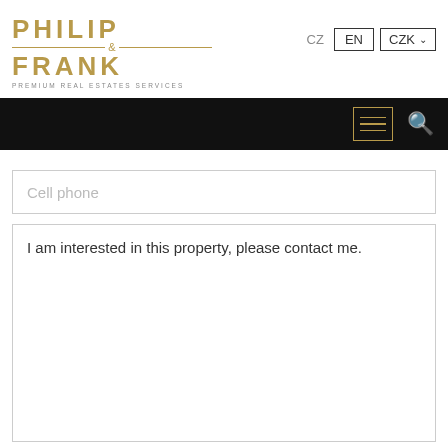[Figure (logo): Philip & Frank Premium Real Estates Services logo in gold/bronze color with horizontal rules]
CZ | EN | CZK
Cell phone
I am interested in this property, please contact me.